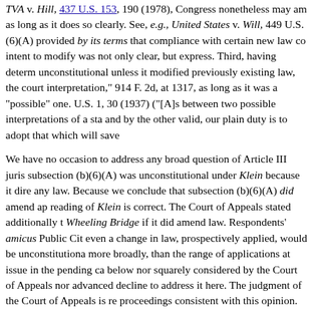TVA v. Hill, 437 U.S. 153, 190 (1978), Congress nonetheless may amend as long as it does so clearly. See, e.g., United States v. Will, 449 U.S. (6)(A) provided by its terms that compliance with certain new law co intent to modify was not only clear, but express. Third, having determ unconstitutional unless it modified previously existing law, the court interpretation," 914 F. 2d, at 1317, as long as it was a "possible" one. U.S. 1, 30 (1937) ("[A]s between two possible interpretations of a sta and by the other valid, our plain duty is to adopt that which will save
We have no occasion to address any broad question of Article III juris subsection (b)(6)(A) was unconstitutional under Klein because it dire any law. Because we conclude that subsection (b)(6)(A) did amend ap reading of Klein is correct. The Court of Appeals stated additionally t Wheeling Bridge if it did amend law. Respondents' amicus Public Cit even a change in law, prospectively applied, would be unconstitutiona more broadly, than the range of applications at issue in the pending ca below nor squarely considered by the Court of Appeals nor advanced decline to address it here. The judgment of the Court of Appeals is re proceedings consistent with this opinion.
It is so ordered.
1. Subsection (b)(3) provided:
"No timber sales offered pursuant to this section from the thirteen nat